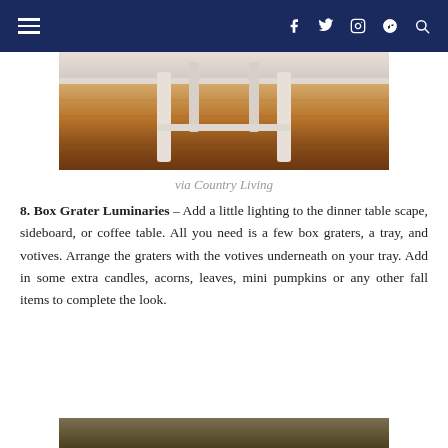Navigation bar with menu icon and social icons: f, twitter, instagram, pinterest, search
[Figure (photo): Bottom legs of a white wooden chair on a warm wood floor, cropped image showing only legs and floor]
via Country Living
8. Box Grater Luminaries – Add a little lighting to the dinner table scape, sideboard, or coffee table. All you need is a few box graters, a tray, and votives. Arrange the graters with the votives underneath on your tray. Add in some extra candles, acorns, leaves, mini pumpkins or any other fall items to complete the look.
[Figure (photo): Partial view of another photo at the bottom of the page, dark olive/brown tones]